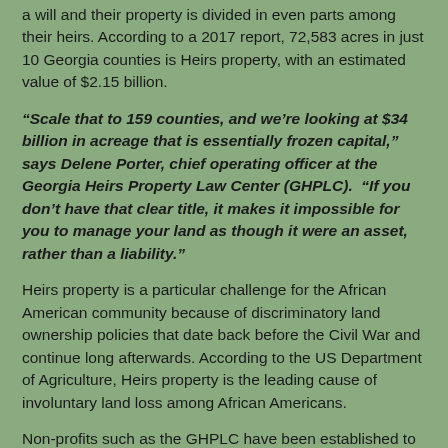a will and their property is divided in even parts among their heirs. According to a 2017 report, 72,583 acres in just 10 Georgia counties is Heirs property, with an estimated value of $2.15 billion.
“Scale that to 159 counties, and we’re looking at $34 billion in acreage that is essentially frozen capital,” says Delene Porter, chief operating officer at the Georgia Heirs Property Law Center (GHPLC). “If you don’t have that clear title, it makes it impossible for you to manage your land as though it were an asset, rather than a liability.”
Heirs property is a particular challenge for the African American community because of discriminatory land ownership policies that date back before the Civil War and continue long afterwards. According to the US Department of Agriculture, Heirs property is the leading cause of involuntary land loss among African Americans.
Non-profits such as the GHPLC have been established to help untie the legal knots of Heirs property. They are also providing valuable information to Heirs owners